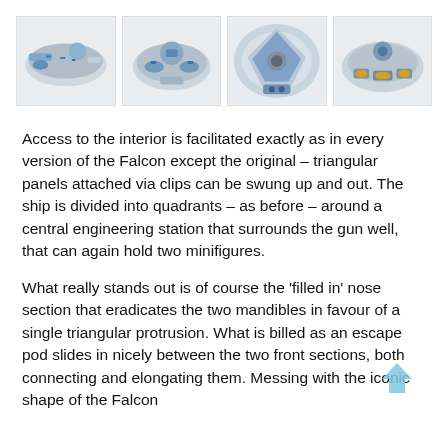[Figure (photo): Four photographs of a LEGO Millennium Falcon (Kessel Run version) in blue and white, shown from different angles: side, front, top-down cockpit, and rear quarter.]
Access to the interior is facilitated exactly as in every version of the Falcon except the original – triangular panels attached via clips can be swung up and out. The ship is divided into quadrants – as before – around a central engineering station that surrounds the gun well, that can again hold two minifigures.
What really stands out is of course the 'filled in' nose section that eradicates the two mandibles in favour of a single triangular protrusion. What is billed as an escape pod slides in nicely between the two front sections, both connecting and elongating them. Messing with the iconic shape of the Falcon